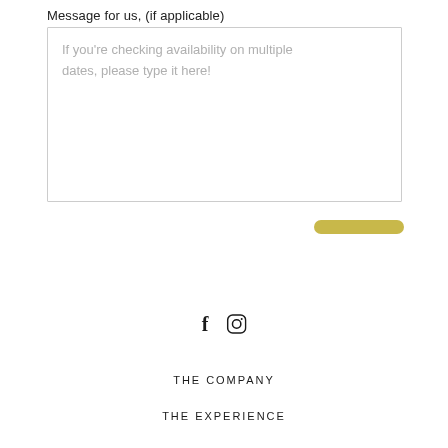Message for us, (if applicable)
If you're checking availability on multiple dates, please type it here!
[Figure (other): Olive/gold colored pill-shaped submit button]
[Figure (other): Facebook and Instagram social media icons]
THE COMPANY
THE EXPERIENCE